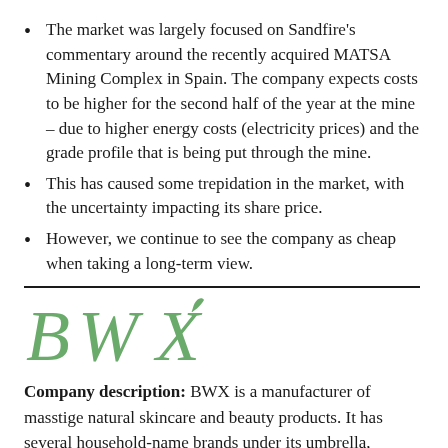The market was largely focused on Sandfire's commentary around the recently acquired MATSA Mining Complex in Spain. The company expects costs to be higher for the second half of the year at the mine – due to higher energy costs (electricity prices) and the grade profile that is being put through the mine.
This has caused some trepidation in the market, with the uncertainty impacting its share price.
However, we continue to see the company as cheap when taking a long-term view.
[Figure (logo): BWX company logo in green serif/display font with a small leaf accent]
Company description: BWX is a manufacturer of masstige natural skincare and beauty products. It has several household-name brands under its umbrella, including Sukin, Andalou, Mineral Fusion, Go To as well as online marketplaces Nourished Life and Flora &